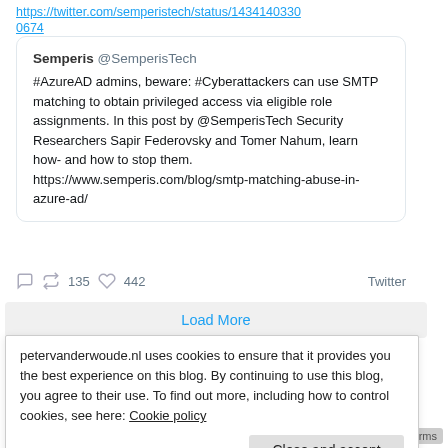https://twitter.com/semperistech/status/1434140330674
Semperis @SemperisTech
#AzureAD admins, beware: #Cyberattackers can use SMTP matching to obtain privileged access via eligible role assignments. In this post by @SemperisTech Security Researchers Sapir Federovsky and Tomer Nahum, learn how- and how to stop them. https://www.semperis.com/blog/smtp-matching-abuse-in-azure-ad/
135  442  Twitter
Load More
petervanderwoude.nl uses cookies to ensure that it provides you the best experience on this blog. By continuing to use this blog, you agree to their use. To find out more, including how to control cookies, see here: Cookie policy
Close and accept
Device compliance for Windows 365 Enterprise Cloud PCs
Getting started with Windows 365 Enterprise using a custom image
Privacy · Terms